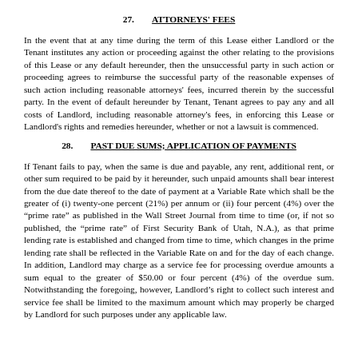27.   ATTORNEYS' FEES
In the event that at any time during the term of this Lease either Landlord or the Tenant institutes any action or proceeding against the other relating to the provisions of this Lease or any default hereunder, then the unsuccessful party in such action or proceeding agrees to reimburse the successful party of the reasonable expenses of such action including reasonable attorneys' fees, incurred therein by the successful party. In the event of default hereunder by Tenant, Tenant agrees to pay any and all costs of Landlord, including reasonable attorney's fees, in enforcing this Lease or Landlord's rights and remedies hereunder, whether or not a lawsuit is commenced.
28.   PAST DUE SUMS; APPLICATION OF PAYMENTS
If Tenant fails to pay, when the same is due and payable, any rent, additional rent, or other sum required to be paid by it hereunder, such unpaid amounts shall bear interest from the due date thereof to the date of payment at a Variable Rate which shall be the greater of (i) twenty-one percent (21%) per annum or (ii) four percent (4%) over the “prime rate” as published in the Wall Street Journal from time to time (or, if not so published, the “prime rate” of First Security Bank of Utah, N.A.), as that prime lending rate is established and changed from time to time, which changes in the prime lending rate shall be reflected in the Variable Rate on and for the day of each change. In addition, Landlord may charge as a service fee for processing overdue amounts a sum equal to the greater of $50.00 or four percent (4%) of the overdue sum. Notwithstanding the foregoing, however, Landlord’s right to collect such interest and service fee shall be limited to the maximum amount which may properly be charged by Landlord for such purposes under any applicable law.